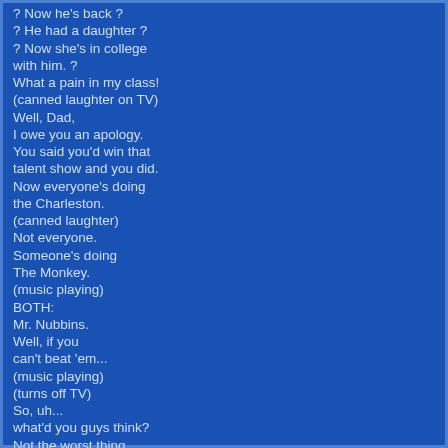? Now he's back ?
? He had a daughter ?
? Now she's in college with him. ?
What a pain in my class!
(canned laughter on TV)
Well, Dad,
I owe you an apology.
You said you'd win that talent show and you did.
Now everyone's doing the Charleston.
(canned laughter)
Not everyone.
Someone's doing The Monkey.
(music playing)
BOTH:
Mr. Nubbins.
Well, if you can't beat 'em...
(music playing)
(turns off TV)
So, uh...
what'd you guys think?
Not the worst thing in the world, right?
Oh, ha-ha.
Time for bed, Stewie.
So, really, everybody, what-what'd you think?